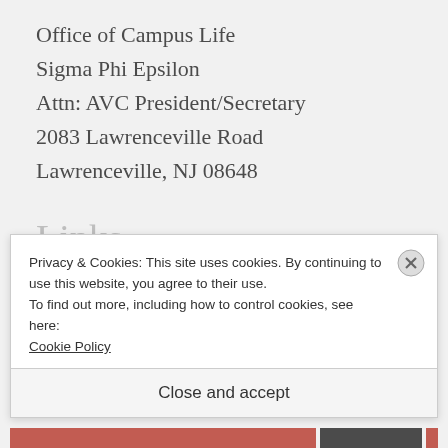Office of Campus Life
Sigma Phi Epsilon
Attn: AVC President/Secretary
2083 Lawrenceville Road
Lawrenceville, NJ 08648
Links
Meet the Undergraduate Chapter at
Privacy & Cookies: This site uses cookies. By continuing to use this website, you agree to their use.
To find out more, including how to control cookies, see here:
Cookie Policy
Close and accept